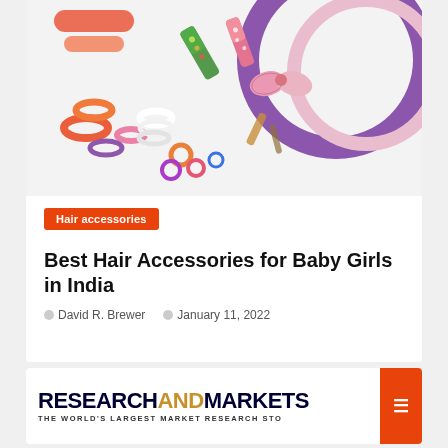[Figure (photo): Photo of colorful hair accessories for baby girls on white background, including hair clips, bangles, headbands with bow, rubber bands in pink, orange, purple and other colors.]
Hair accessories
Best Hair Accessories for Baby Girls in India
David R. Brewer   January 11, 2022
[Figure (logo): ResearchAndMarkets logo — RESEARCH in dark blue bold, AND in gold/amber bold, MARKETS in dark blue bold. Tagline: THE WORLD'S LARGEST MARKET RESEARCH STO (truncated). Orange button on right side.]